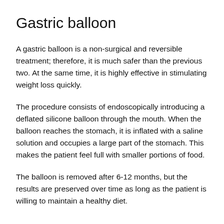Gastric balloon
A gastric balloon is a non-surgical and reversible treatment; therefore, it is much safer than the previous two. At the same time, it is highly effective in stimulating weight loss quickly.
The procedure consists of endoscopically introducing a deflated silicone balloon through the mouth. When the balloon reaches the stomach, it is inflated with a saline solution and occupies a large part of the stomach. This makes the patient feel full with smaller portions of food.
The balloon is removed after 6-12 months, but the results are preserved over time as long as the patient is willing to maintain a healthy diet.